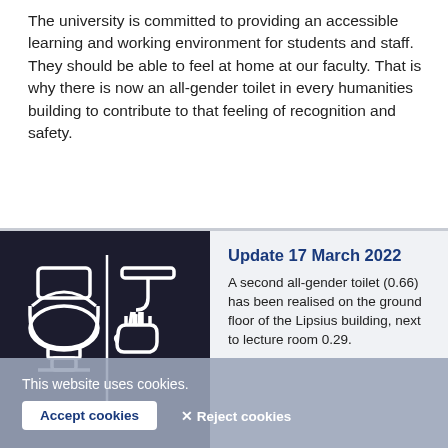The university is committed to providing an accessible learning and working environment for students and staff. They should be able to feel at home at our faculty. That is why there is now an all-gender toilet in every humanities building to contribute to that feeling of recognition and safety.
[Figure (photo): Dark navy blue sign with white line-art icons of a toilet and a hand-washing tap, indicating an all-gender/accessible bathroom]
Update 17 March 2022
A second all-gender toilet (0.66) has been realised on the ground floor of the Lipsius building, next to lecture room 0.29.
the indication has as well (see the photo to the) to contribute the toilet on to find it.